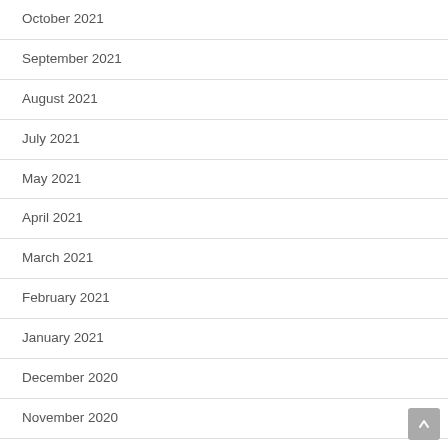October 2021
September 2021
August 2021
July 2021
May 2021
April 2021
March 2021
February 2021
January 2021
December 2020
November 2020
October 2020